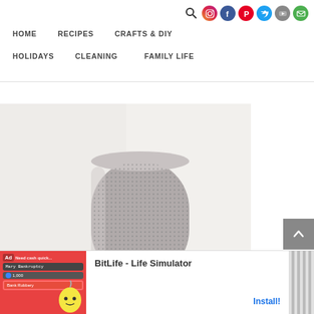Navigation icons: search, instagram, facebook, pinterest, twitter, youtube, email
HOME  RECIPES  CRAFTS & DIY
HOLIDAYS  CLEANING  FAMILY LIFE
[Figure (photo): A cylindrical air purifier with a grey mesh/fabric exterior, placed against a white textured wall background.]
[Figure (screenshot): Ad banner for BitLife - Life Simulator app. Red background with cartoon character, text 'BitLife - Life Simulator' and 'Install!' button.]